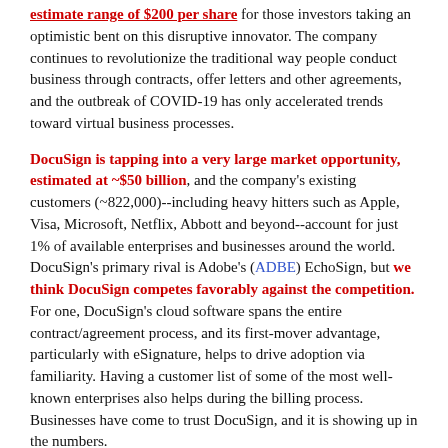estimate range of $200 per share for those investors taking an optimistic bent on this disruptive innovator. The company continues to revolutionize the traditional way people conduct business through contracts, offer letters and other agreements, and the outbreak of COVID-19 has only accelerated trends toward virtual business processes.
DocuSign is tapping into a very large market opportunity, estimated at ~$50 billion, and the company's existing customers (~822,000)--including heavy hitters such as Apple, Visa, Microsoft, Netflix, Abbott and beyond--account for just 1% of available enterprises and businesses around the world. DocuSign's primary rival is Adobe's (ADBE) EchoSign, but we think DocuSign competes favorably against the competition. For one, DocuSign's cloud software spans the entire contract/agreement process, and its first-mover advantage, particularly with eSignature, helps to drive adoption via familiarity. Having a customer list of some of the most well-known enterprises also helps during the billing process. Businesses have come to trust DocuSign, and it is showing up in the numbers.
During DocuSign's third quarter fiscal 2021 (three months ended October 31, 2020), it experienced a 53% year-over-year increase in revenue thanks to strong subscription (~95% of total sales) and professional services revenue expansion. Billings during the period came in at $440 million, a leap of